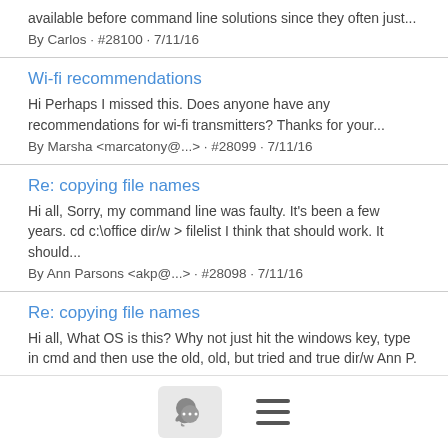available before command line solutions since they often just...
By Carlos · #28100 · 7/11/16
Wi-fi recommendations
Hi Perhaps I missed this. Does anyone have any recommendations for wi-fi transmitters? Thanks for your...
By Marsha <marcatony@...> · #28099 · 7/11/16
Re: copying file names
Hi all, Sorry, my command line was faulty. It's been a few years. cd c:\office dir/w > filelist I think that should work. It should...
By Ann Parsons <akp@...> · #28098 · 7/11/16
Re: copying file names
Hi all, What OS is this? Why not just hit the windows key, type in cmd and then use the old, old, but tried and true dir/w Ann P. --...
By Ann Parsons <akp@...> · #28097 · 7/11/16
Re: A modest proposal